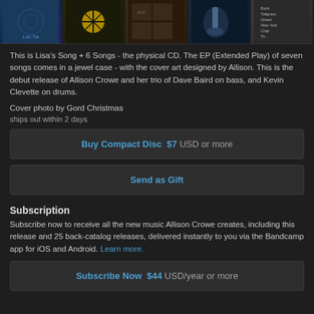[Figure (photo): Strip of five album cover thumbnail images]
This is Lisa's Song + 6 Songs - the physical CD. The EP (Extended Play) of seven songs comes in a jewel case - with the cover art designed by Allison. This is the debut release of Allison Crowe and her trio of Dave Baird on bass, and Kevin Clevette on drums.
Cover photo by Gord Christmas
ships out within 2 days
Buy Compact Disc  $7  USD or more
Send as Gift
Subscription
Subscribe now to receive all the new music Allison Crowe creates, including this release and 25 back-catalog releases, delivered instantly to you via the Bandcamp app for iOS and Android. Learn more.
Subscribe Now  $44  USD/year or more